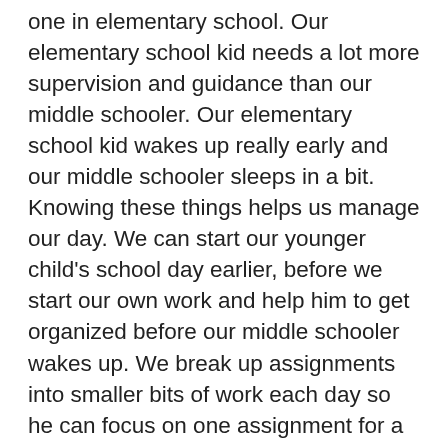one in elementary school. Our elementary school kid needs a lot more supervision and guidance than our middle schooler. Our elementary school kid wakes up really early and our middle schooler sleeps in a bit. Knowing these things helps us manage our day. We can start our younger child's school day earlier, before we start our own work and help him to get organized before our middle schooler wakes up. We break up assignments into smaller bits of work each day so he can focus on one assignment for a set amount of time until it is complete, then we can check it. This also gives us time to complete our own work. Knowing what time of day works best for your kids to learn and where they are most productive is a huge help. If mornings are not great, don't fight it, let them have some free time and complete schoolwork in the afternoon. If sitting at the kitchen table (like my son) keeps them focused, great… if they work better at a desk in their room (like my daughter), even better! Sip that wine!